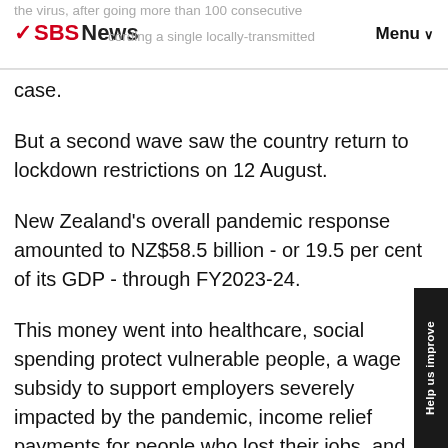SBS News — Menu
the virus, after going more than 100 consecutive days without recording a single locally-transmitted case.
But a second wave saw the country return to lockdown restrictions on 12 August.
New Zealand's overall pandemic response amounted to NZ$58.5 billion - or 19.5 per cent of its GDP - through FY2023-24.
This money went into healthcare, social spending protect vulnerable people, a wage subsidy to support employers severely impacted by the pandemic, income relief payments for people who lost their jobs, and support for various impacted